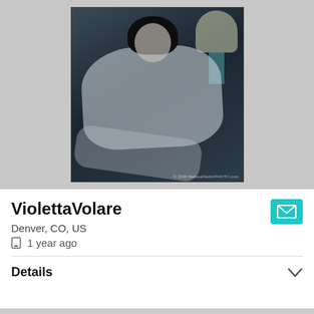[Figure (photo): A woman with dark hair posing on a bed in a moody, dark-toned photograph. A lamp is visible in the background. Watermark reads '© 2008 MelissaNiebhrPHOTO.com'.]
ViolettaVolare
Denver, CO, US
1 year ago
Details